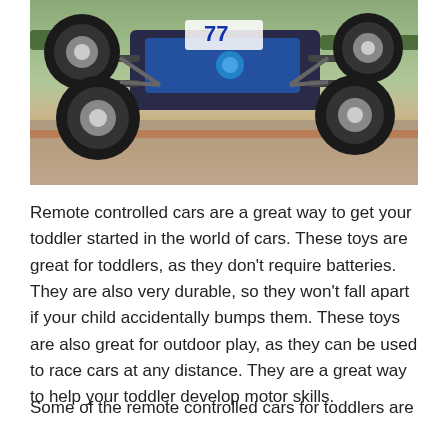[Figure (photo): An RC (remote controlled) buggy car airborne mid-jump at a racing track, photographed from below showing the undercarriage and four large tires. The background shows a blurred outdoor track environment with green and orange/red tones.]
Remote controlled cars are a great way to get your toddler started in the world of cars. These toys are great for toddlers, as they don't require batteries. They are also very durable, so they won't fall apart if your child accidentally bumps them. These toys are also great for outdoor play, as they can be used to race cars at any distance. They are a great way to help your toddler develop motor skills.
Some of the remote controlled cars for toddlers are